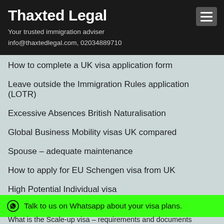Thaxted Legal
Your trusted immigration adviser
info@thaxtedlegal.com, 02034889710
How to complete a UK visa application form
Leave outside the Immigration Rules application (LOTR)
Excessive Absences British Naturalisation
Global Business Mobility visas UK compared
Spouse – adequate maintenance
How to apply for EU Schengen visa from UK
High Potential Individual visa
Home Office sponsor compliance (audit)
U...
Talk to us on Whatsapp about your visa plans.
What is the Scale-up visa – requirements and documents